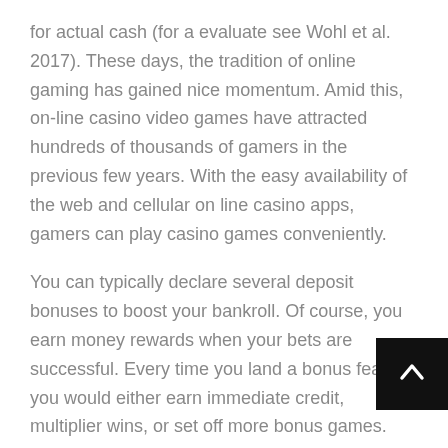for actual cash (for a evaluate see Wohl et al. 2017). These days, the tradition of online gaming has gained nice momentum. Amid this, on-line casino video games have attracted hundreds of thousands of gamers in the previous few years. With the easy availability of the web and cellular on line casino apps, gamers can play casino games conveniently.
You can typically declare several deposit bonuses to boost your bankroll. Of course, you earn money rewards when your bets are successful. Every time you land a bonus feature, you would either earn immediate credit, multiplier wins, or set off more bonus games. Olg free slots a player wins if the number dra is either a prime quantity or an ideal square, you